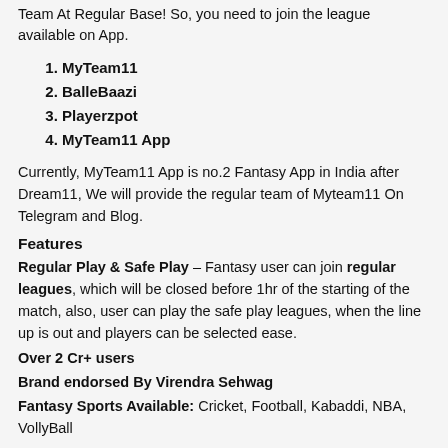Team At Regular Base! So, you need to join the league available on App.
MyTeam11
BalleBaazi
Playerzpot
MyTeam11 App
Currently, MyTeam11 App is no.2 Fantasy App in India after Dream11, We will provide the regular team of Myteam11 On Telegram and Blog.
Features
Regular Play & Safe Play – Fantasy user can join regular leagues, which will be closed before 1hr of the starting of the match, also, user can play the safe play leagues, when the line up is out and players can be selected ease.
Over 2 Cr+ users
Brand endorsed By Virendra Sehwag
Fantasy Sports Available: Cricket, Football, Kabaddi, NBA, VollyBall